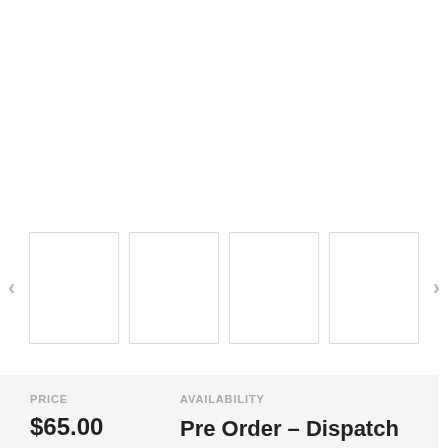[Figure (screenshot): Product image carousel showing 4 empty white thumbnail boxes with left and right navigation arrows on either side]
PRICE
$65.00
AVAILABILITY
Pre Order - Dispatch 2-4 days
[Figure (screenshot): Bottom bar with quantity input box and pink/red Add to Cart button partially visible]